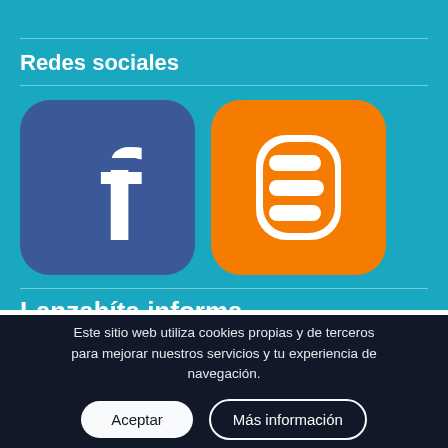Redes sociales
[Figure (logo): Facebook logo icon — rounded square with purple/blue background and white 'f' letter]
[Figure (logo): Blogger logo icon — rounded square with orange background and white 'B' letter]
Lanzahíta informa
Este sitio web utiliza cookies propias y de terceros para mejorar nuestros servicios y tu experiencia de navegación.
Aceptar
Más información